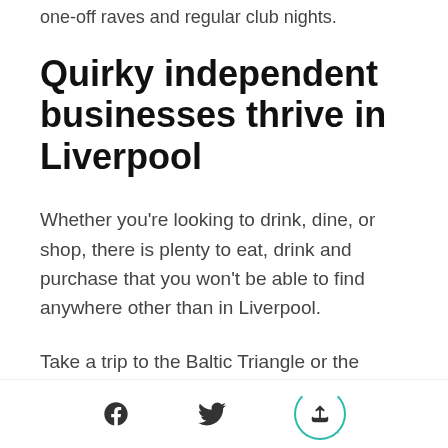one-off raves and regular club nights.
Quirky independent businesses thrive in Liverpool
Whether you’re looking to drink, dine, or shop, there is plenty to eat, drink and purchase that you won’t be able to find anywhere other than in Liverpool.
Take a trip to the Baltic Triangle or the Ropewalks area in the city centre and you’ll find plenty of independent shops, bars and restaurants where you can experience something totally unique to the city. For plenty to explore all under one roof, check out Baltic Market and Duke Street Market.
Share icons: Facebook, Twitter, Share/Upload